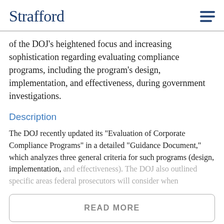Strafford
of the DOJ's heightened focus and increasing sophistication regarding evaluating compliance programs, including the program's design, implementation, and effectiveness, during government investigations.
Description
The DOJ recently updated its "Evaluation of Corporate Compliance Programs" in a detailed "Guidance Document," which analyzes three general criteria for such programs (design, implementation, and effectiveness). The DOJ also outlined specific areas federal prosecutors will consider when
READ MORE
Outline